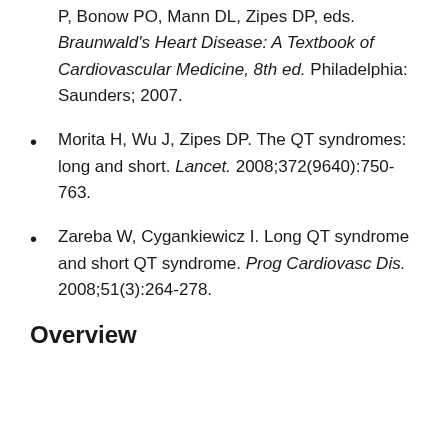P, Bonow PO, Mann DL, Zipes DP, eds. Braunwald's Heart Disease: A Textbook of Cardiovascular Medicine, 8th ed. Philadelphia: Saunders; 2007.
Morita H, Wu J, Zipes DP. The QT syndromes: long and short. Lancet. 2008;372(9640):750-763.
Zareba W, Cygankiewicz I. Long QT syndrome and short QT syndrome. Prog Cardiovasc Dis. 2008;51(3):264-278.
Overview